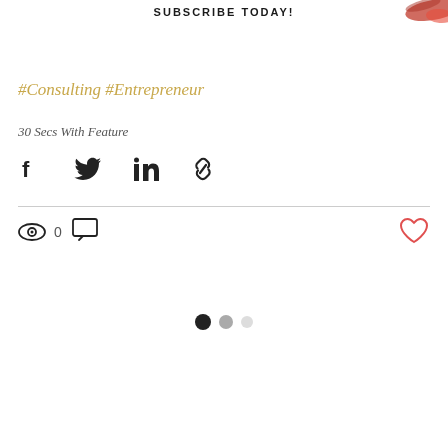SUBSCRIBE TODAY!
#Consulting #Entrepreneur
30 Secs With Feature
[Figure (infographic): Social share icons: Facebook, Twitter, LinkedIn, link/chain icon]
[Figure (infographic): Stats row with eye/views icon showing 0 views, comment icon, and a heart/like icon on the right]
[Figure (infographic): Pagination dots: three circles, first dark filled, second grey, third light grey]